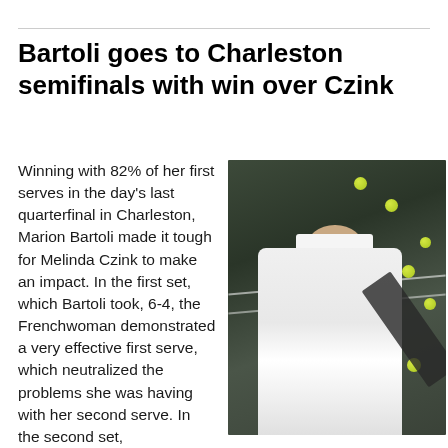Bartoli goes to Charleston semifinals with win over Czink
Winning with 82% of her first serves in the day's last quarterfinal in Charleston, Marion Bartoli made it tough for Melinda Czink to make an impact. In the first set, which Bartoli took, 6-4, the Frenchwoman demonstrated a very effective first serve, which neutralized the problems she was having with her second serve. In the second set,
[Figure (photo): Photo of Marion Bartoli in white tennis outfit with white visor, looking up while holding a racket on a tennis court with multiple yellow-green tennis balls visible in the background]